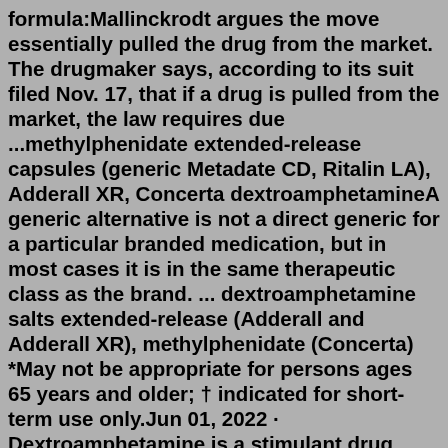formula:Mallinckrodt argues the move essentially pulled the drug from the market. The drugmaker says, according to its suit filed Nov. 17, that if a drug is pulled from the market, the law requires due ...methylphenidate extended-release capsules (generic Metadate CD, Ritalin LA), Adderall XR, Concerta dextroamphetamineA generic alternative is not a direct generic for a particular branded medication, but in most cases it is in the same therapeutic class as the brand. ... dextroamphetamine salts extended-release (Adderall and Adderall XR), methylphenidate (Concerta) *May not be appropriate for persons ages 65 years and older; † indicated for short-term use only.Jun 01, 2022 · Dextroamphetamine is a stimulant drug used to treat a chronic sleep disorder (narcolepsy) that causes daytime drowsiness, and attention deficit hyperactivity disorder (ADHD) in both adults and children. Common side effects of dextroamphetamine include loss of appetite (anorexia), abdominal pain, nausea, vomiting, diarrhea, constipation, indigestion (dyspepsia), dry...